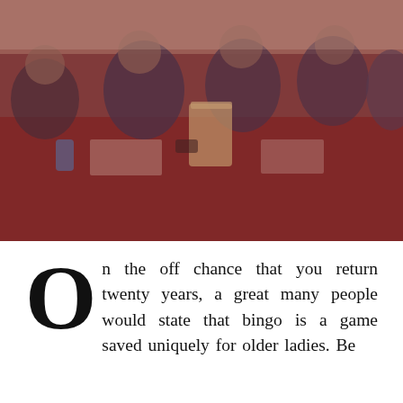[Figure (photo): Photo of several people in military/naval uniforms seated at a table, appearing to play bingo. A large plastic cup is visible on the table along with bingo cards. The image has a reddish-brown tint overlay.]
On the off chance that you return twenty years, a great many people would state that bingo is a game saved uniquely for older ladies. Be